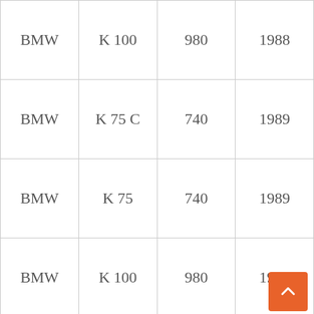| BMW | K 100 | 980 | 1988 |
| BMW | K 75 C | 740 | 1989 |
| BMW | K 75 | 740 | 1989 |
| BMW | K 100 | 980 | 1989 |